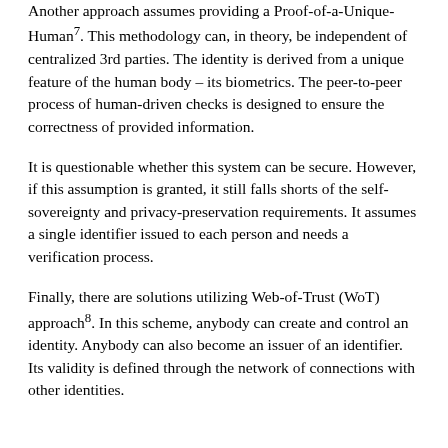Another approach assumes providing a Proof-of-a-Unique-Human⁷. This methodology can, in theory, be independent of centralized 3rd parties. The identity is derived from a unique feature of the human body – its biometrics. The peer-to-peer process of human-driven checks is designed to ensure the correctness of provided information.
It is questionable whether this system can be secure. However, if this assumption is granted, it still falls shorts of the self-sovereignty and privacy-preservation requirements. It assumes a single identifier issued to each person and needs a verification process.
Finally, there are solutions utilizing Web-of-Trust (WoT) approach⁸. In this scheme, anybody can create and control an identity. Anybody can also become an issuer of an identifier. Its validity is defined through the network of connections with other identities.